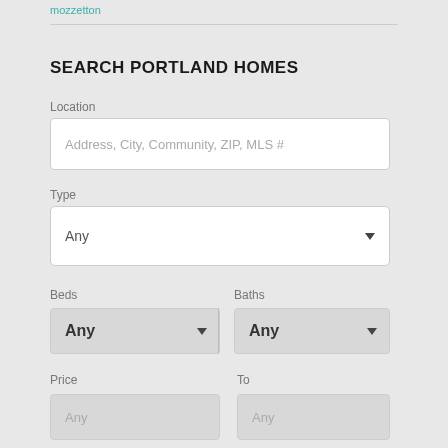mozzetton
SEARCH PORTLAND HOMES
Location
Address, City, Community, ZIP, MLS #
Type
Any
Beds
Baths
Any
Any
Price
To
Any
Any